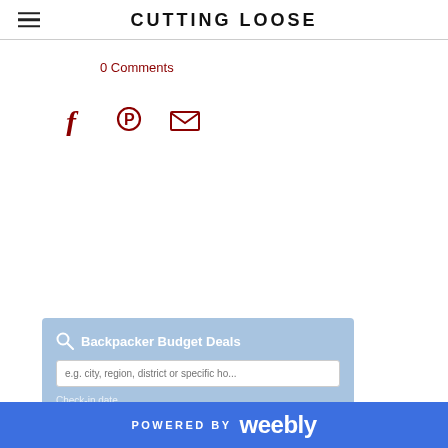CUTTING LOOSE
0 Comments
[Figure (other): Social sharing icons: Facebook, Pinterest, Email]
[Figure (other): Backpacker Budget Deals booking widget with search input, check-in date (3 Sep '22), check-out date (4 Sep '22), and Booking.com logo]
POWERED BY weebly